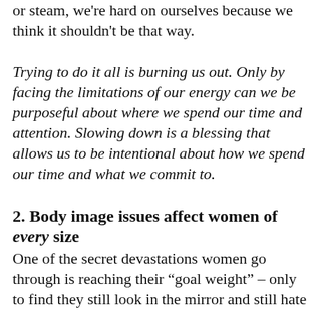or steam, we're hard on ourselves because we think it shouldn't be that way.
Trying to do it all is burning us out. Only by facing the limitations of our energy can we be purposeful about where we spend our time and attention. Slowing down is a blessing that allows us to be intentional about how we spend our time and what we commit to.
2. Body image issues affect women of every size
One of the secret devastations women go through is reaching their “goal weight” – only to find they still look in the mirror and still hate what they see.